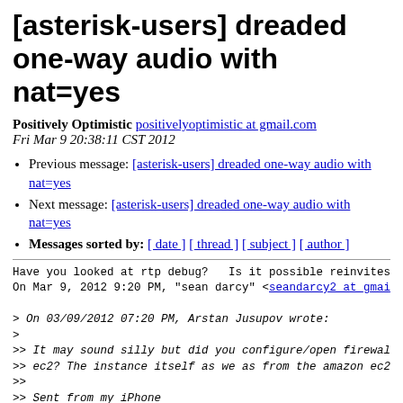[asterisk-users] dreaded one-way audio with nat=yes
Positively Optimistic positivelyoptimistic at gmail.com
Fri Mar 9 20:38:11 CST 2012
Previous message: [asterisk-users] dreaded one-way audio with nat=yes
Next message: [asterisk-users] dreaded one-way audio with nat=yes
Messages sorted by: [ date ] [ thread ] [ subject ] [ author ]
Have you looked at rtp debug?   Is it possible reinvites
On Mar 9, 2012 9:20 PM, "sean darcy" <seandarcy2 at gmai

> On 03/09/2012 07:20 PM, Arstan Jusupov wrote:
>
>> It may sound silly but did you configure/open firewal
>> ec2? The instance itself as we as from the amazon ec2
>>
>> Sent from my iPhone
>>
>> On Mar 10, 2012, at 7:16 AM, sean darcy<seandarcy2 at
>>